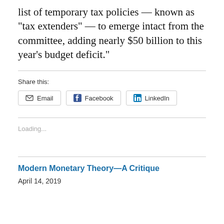list of temporary tax policies — known as “tax extenders” — to emerge intact from the committee, adding nearly $50 billion to this year’s budget deficit.”
Share this:
Email  Facebook  LinkedIn
Loading...
Modern Monetary Theory—A Critique
April 14, 2019